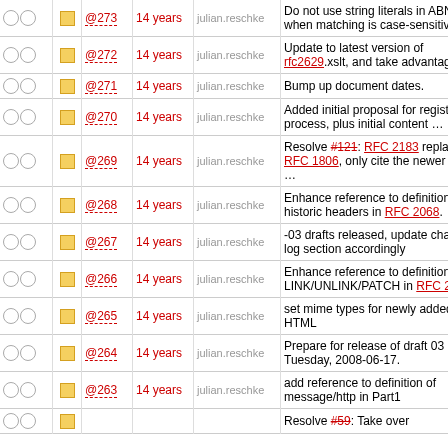|  |  | Rev | Age | Author | Message |
| --- | --- | --- | --- | --- | --- |
| ○ ○ | □ | @273 | 14 years | julian.reschke | Do not use string literals in ABNF when matching is case-sensitive … |
| ○ ○ | □ | @272 | 14 years | julian.reschke | Update to latest version of rfc2629.xslt, and take advantage of it. |
| ○ ○ | □ | @271 | 14 years | julian.reschke | Bump up document dates. |
| ○ ○ | □ | @270 | 14 years | julian.reschke | Added initial proposal for registration process, plus initial content … |
| ○ ○ | □ | @269 | 14 years | julian.reschke | Resolve #121: RFC 2183 replaced RFC 1806, only cite the newer one … |
| ○ ○ | □ | @268 | 14 years | julian.reschke | Enhance reference to definition of historic headers in RFC 2068. |
| ○ ○ | □ | @267 | 14 years | julian.reschke | -03 drafts released, update change log section accordingly |
| ○ ○ | □ | @266 | 14 years | julian.reschke | Enhance reference to definition of LINK/UNLINK/PATCH in RFC 2068. |
| ○ ○ | □ | @265 | 14 years | julian.reschke | set mime types for newly added HTML |
| ○ ○ | □ | @264 | 14 years | julian.reschke | Prepare for release of draft 03 on Tuesday, 2008-06-17. |
| ○ ○ | □ | @263 | 14 years | julian.reschke | add reference to definition of message/http in Part1 |
| ○ ○ | □ | … | … | … | Resolve #59: Take over … |